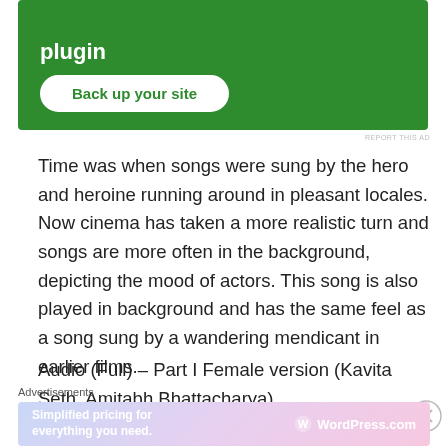[Figure (screenshot): Green advertisement banner with text 'plugin' and a white rounded button 'Back up your site']
Time was when songs were sung by the hero and heroine running around in pleasant locales. Now cinema has taken a more realistic turn and songs are more often in the background, depicting the mood of actors. This song is also played in background and has the same feel as a song sung by a wandering mendicant in earlier films.
Audio (Full) – Part I Female version (Kavita Seth, Amitabh Bhattacharya)
Advertisements
[Figure (screenshot): WordPress.com advertisement banner with gradient background and text 'Simplified pricing for everything you need.']